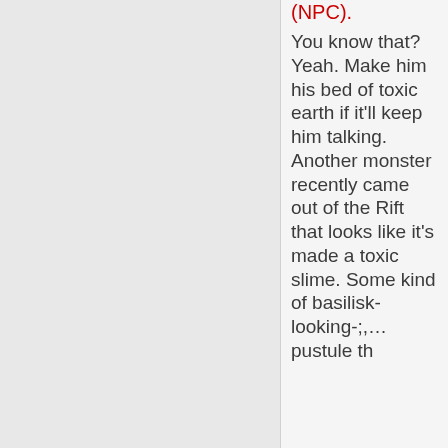(NPC).
You know that? Yeah. Make him his bed of toxic earth if it'll keep him talking. Another monster recently came out of the Rift that looks like it's made a toxic slime. Some kind of basilisk-looking-;,... pustule th